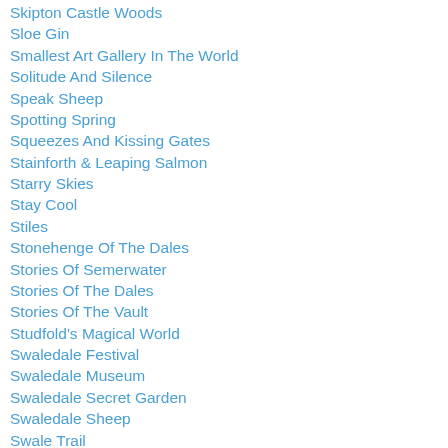Skipton Castle Woods
Sloe Gin
Smallest Art Gallery In The World
Solitude And Silence
Speak Sheep
Spotting Spring
Squeezes And Kissing Gates
Stainforth & Leaping Salmon
Starry Skies
Stay Cool
Stiles
Stonehenge Of The Dales
Stories Of Semerwater
Stories Of The Dales
Stories Of The Vault
Studfold's Magical World
Swaledale Festival
Swaledale Museum
Swaledale Secret Garden
Swaledale Sheep
Swale Trail